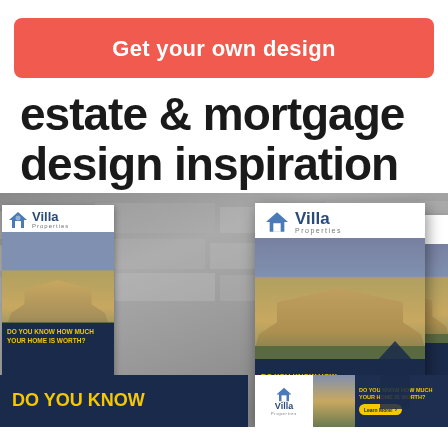Get your own design
estate & mortgage design inspiration
[Figure (illustration): Composite image showing multiple 'Villa Properties' real estate advertisement banner designs overlaid on a stone wall background. Each banner shows a house image, the Villa Properties logo, and a call-to-action 'DO YOU KNOW HOW MUCH YOUR HOME IS WORTH?' with a yellow 'Learn More!' button.]